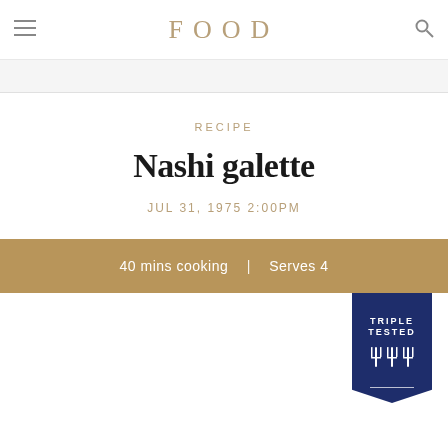FOOD
RECIPE
Nashi galette
JUL 31, 1975 2:00PM
40 mins cooking | Serves 4
[Figure (logo): Triple Tested badge - dark navy pentagon/bookmark shape with TRIPLE TESTED text and three fork icons]